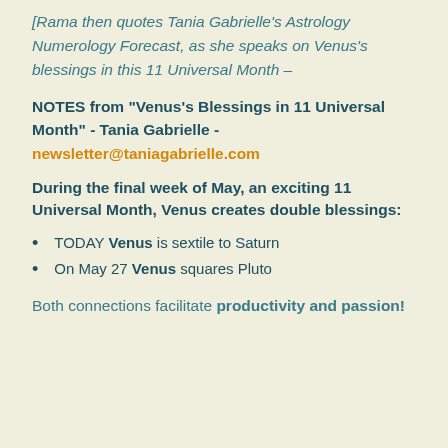[Rama then quotes Tania Gabrielle's Astrology Numerology Forecast, as she speaks on Venus's blessings in this 11 Universal Month –
NOTES from "Venus's Blessings in 11 Universal Month" - Tania Gabrielle - newsletter@taniagabrielle.com
During the final week of May, an exciting 11 Universal Month, Venus creates double blessings:
TODAY Venus is sextile to Saturn
On May 27 Venus squares Pluto
Both connections facilitate productivity and passion!